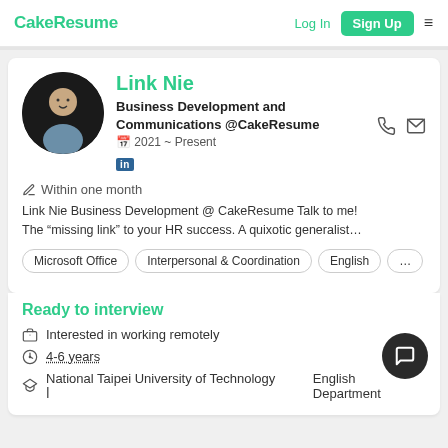CakeResume  Log In  Sign Up
Link Nie
Business Development and Communications @CakeResume
🗓 2021 ~ Present
[Figure (photo): LinkedIn badge icon]
✏ Within one month
Link Nie Business Development @ CakeResume Talk to me! The "missing link" to your HR success. A quixotic generalist...
Microsoft Office
Interpersonal & Coordination
English
...
Ready to interview
Interested in working remotely
4-6 years
National Taipei University of Technology 🏛
English Department